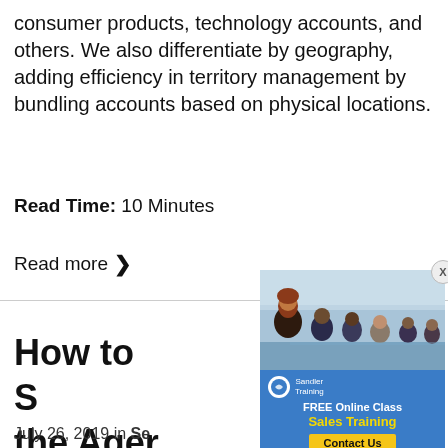consumer products, technology accounts, and others. We also differentiate by geography, adding efficiency in territory management by bundling accounts based on physical locations.
Read Time: 10 Minutes
Read more >
[Figure (photo): Advertisement overlay showing a business meeting photo with people seated at a conference table, and a blue section with 'FREE Online Class - Sales Training - Contact Us' call to action from Sandler Training.]
How to S[tructure your sales meetin]ng to the Agen[da]
July 26, 2019 in Se[les]